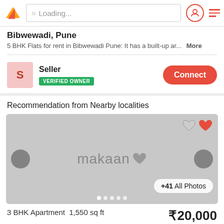Loading...
Bibwewadi, Pune
5 BHK Flats for rent in Bibwewadi Pune: It has a built-up ar... More
Seller
VERIFIED OWNER
Recommendation from Nearby localities
[Figure (screenshot): Property listing image placeholder with makaan logo, navigation arrows, heart icons, dots indicator, and +41 All Photos button]
3 BHK Apartment 1,550 sq ft
₹20,000
Gagan Emerald  |  Kondhwa, Pune